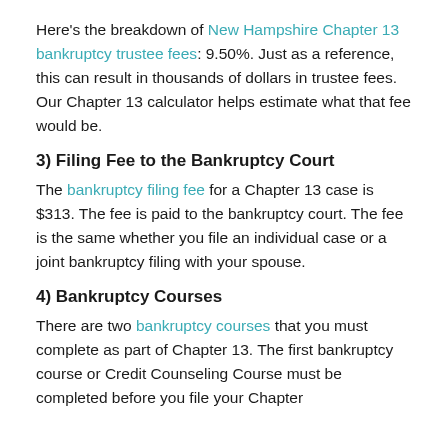Here's the breakdown of New Hampshire Chapter 13 bankruptcy trustee fees: 9.50%. Just as a reference, this can result in thousands of dollars in trustee fees. Our Chapter 13 calculator helps estimate what that fee would be.
3) Filing Fee to the Bankruptcy Court
The bankruptcy filing fee for a Chapter 13 case is $313. The fee is paid to the bankruptcy court. The fee is the same whether you file an individual case or a joint bankruptcy filing with your spouse.
4) Bankruptcy Courses
There are two bankruptcy courses that you must complete as part of Chapter 13. The first bankruptcy course or Credit Counseling Course must be completed before you file your Chapter